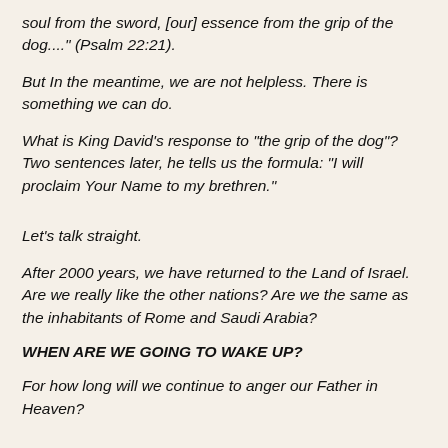soul from the sword, [our] essence from the grip of the dog...." (Psalm 22:21).
But In the meantime, we are not helpless. There is something we can do.
What is King David's response to "the grip of the dog"? Two sentences later, he tells us the formula: "I will proclaim Your Name to my brethren."
Let's talk straight.
After 2000 years, we have returned to the Land of Israel. Are we really like the other nations? Are we the same as the inhabitants of Rome and Saudi Arabia?
WHEN ARE WE GOING TO WAKE UP?
For how long will we continue to anger our Father in Heaven?